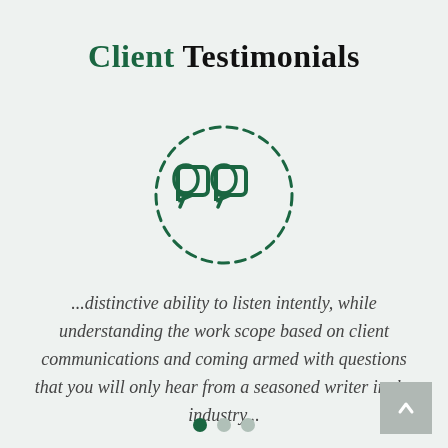Client Testimonials
[Figure (illustration): A dashed circle containing a stylized double closing quotation mark icon in dark green, serving as a decorative testimonial graphic.]
...distinctive ability to listen intently, while understanding the work scope based on client communications and coming armed with questions that you will only hear from a seasoned writer in the industry...